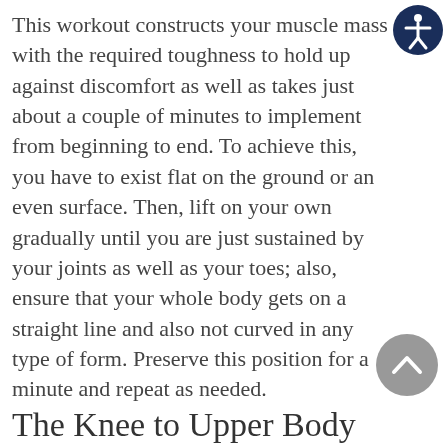This workout constructs your muscle mass with the required toughness to hold up against discomfort as well as takes just about a couple of minutes to implement from beginning to end. To achieve this, you have to exist flat on the ground or an even surface. Then, lift on your own gradually until you are just sustained by your joints as well as your toes; also, ensure that your whole body gets on a straight line and also not curved in any type of form. Preserve this position for a minute and repeat as needed.
The Knee to Upper Body